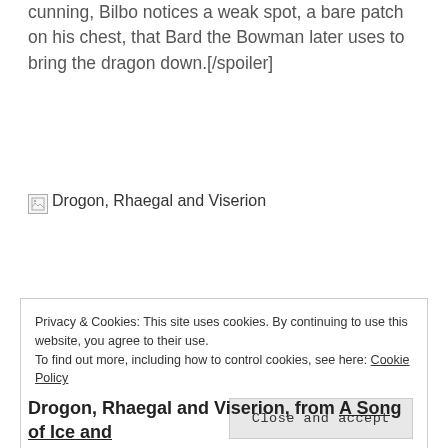cunning, Bilbo notices a weak spot, a bare patch on his chest, that Bard the Bowman later uses to bring the dragon down.[/spoiler]
[Figure (photo): Broken image placeholder labeled 'Drogon, Rhaegal and Viserion']
Privacy & Cookies: This site uses cookies. By continuing to use this website, you agree to their use.
To find out more, including how to control cookies, see here: Cookie Policy
Close and accept
Drogon, Rhaegal and Viserion, from A Song of Ice and